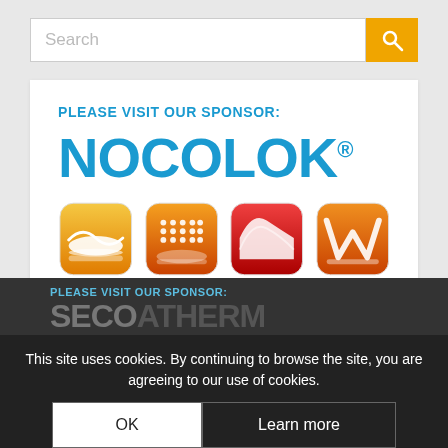[Figure (screenshot): Search bar with orange search button]
[Figure (logo): NOCOLOK sponsor logo with four product icons (brazing products)]
This site uses cookies. By continuing to browse the site, you are agreeing to our use of cookies.
OK
Learn more